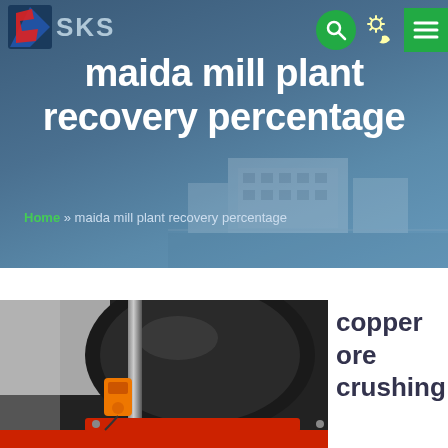SKS
maida mill plant recovery percentage
Home » maida mill plant recovery percentage
[Figure (photo): Close-up photograph of industrial milling/crushing machinery with a large dark cylindrical component, red base ring, and an orange sensor device attached to a vertical metal support]
copper ore crushing